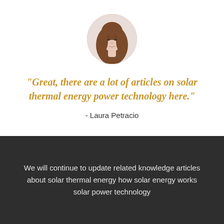[Figure (photo): Circular portrait photo of a young woman with long brown hair, light skin, on a white background.]
"Great, there are a lot of articles on solar thermal energy power technology here."
- Laura Petracio
We will continue to update related knowledge articles about solar thermal energy how solar energy works solar power technology